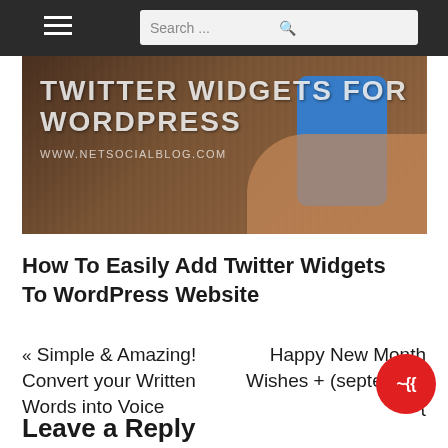Search ...
[Figure (photo): Hero banner image showing a hand holding a blue smartphone against a wooden background, with text overlay reading 'TWITTER WIDGETS FOR WORDPRESS' and 'WWW.NETSOCIALBLOG.COM']
How To Easily Add Twitter Widgets To WordPress Website
« Simple & Amazing! Convert your Written Words into Voice
Happy New Month Wishes + (september Gis{
Leave a Reply